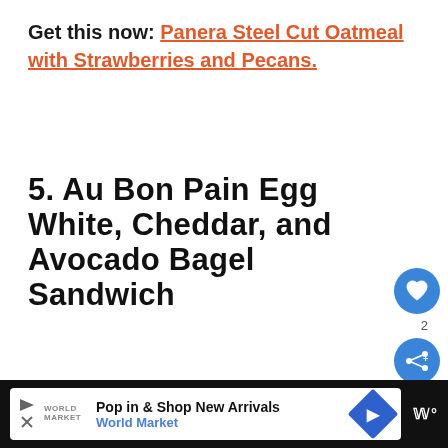Get this now: Panera Steel Cut Oatmeal with Strawberries and Pecans.
5. Au Bon Pain Egg White, Cheddar, and Avocado Bagel Sandwich
[Figure (photo): A sesame bagel on parchment paper against a pink background. Overlaid UI elements include a heart button (2 likes), a share button, and a 'What's Next' card showing '13 Recipes for Gastritis'.]
[Figure (infographic): Advertisement bar at bottom: 'Pop in & Shop New Arrivals / World Market' with play icon, logo, navigation arrow, and a dark side panel with 'W' icon.]